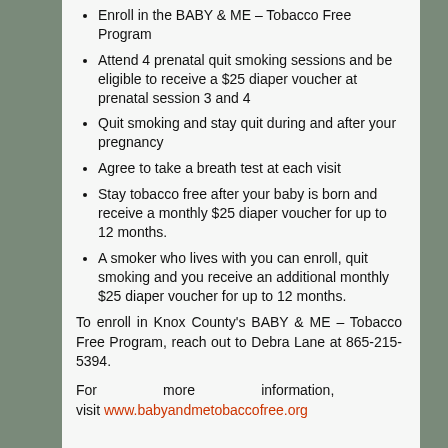Enroll in the BABY & ME – Tobacco Free Program
Attend 4 prenatal quit smoking sessions and be eligible to receive a $25 diaper voucher at prenatal session 3 and 4
Quit smoking and stay quit during and after your pregnancy
Agree to take a breath test at each visit
Stay tobacco free after your baby is born and receive a monthly $25 diaper voucher for up to 12 months.
A smoker who lives with you can enroll, quit smoking and you receive an additional monthly $25 diaper voucher for up to 12 months.
To enroll in Knox County's BABY & ME – Tobacco Free Program, reach out to Debra Lane at 865-215-5394.
For more information, visit www.babyandmetobaccofree.org